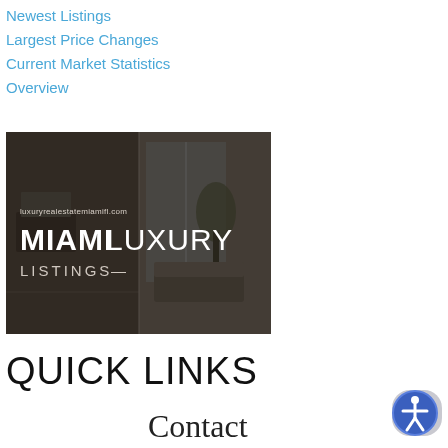Newest Listings
Largest Price Changes
Current Market Statistics
Overview
[Figure (logo): Miami Luxury Listings banner with interior scene background, text: luxuryrealestatemiamifl.com, MIAMI LUXURY LISTINGS]
QUICK LINKS
Contact